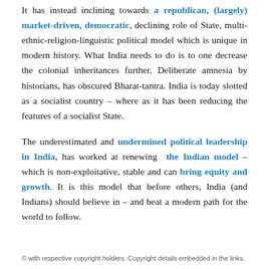It has instead inclining towards a republican, (largely) market-driven, democratic, declining role of State, multi-ethnic-religion-linguistic political model which is unique in modern history. What India needs to do is to one decrease the colonial inheritances further. Deliberate amnesia by historians, has obscured Bharat-tantra. India is today slotted as a socialist country – where as it has been reducing the features of a socialist State.
The underestimated and undermined political leadership in India, has worked at renewing the Indian model – which is non-exploitative, stable and can bring equity and growth. It is this model that before others, India (and Indians) should believe in – and beat a modern path for the world to follow.
© with respective copyright holders. Copyright details embedded in the links.